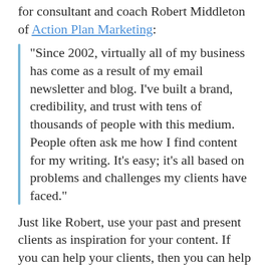for consultant and coach Robert Middleton of Action Plan Marketing:
“Since 2002, virtually all of my business has come as a result of my email newsletter and blog. I’ve built a brand, credibility, and trust with tens of thousands of people with this medium. People often ask me how I find content for my writing. It’s easy; it’s all based on problems and challenges my clients have faced.”
Just like Robert, use your past and present clients as inspiration for your content. If you can help your clients, then you can help your prospects who face similar challenges in their business.